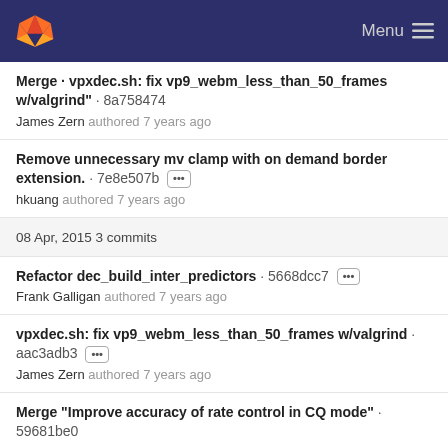GitLab | Menu
Merge · vpxdec.sh: fix vp9_webm_less_than_50_frames w/valgrind" · 8a758474 — James Zern authored 7 years ago
Remove unnecessary mv clamp with on demand border extension. · 7e8e507b ··· — hkuang authored 7 years ago
08 Apr, 2015  3 commits
Refactor dec_build_inter_predictors · 5668dcc7 ··· — Frank Galligan authored 7 years ago
vpxdec.sh: fix vp9_webm_less_than_50_frames w/valgrind · aac3adb3 ··· — James Zern authored 7 years ago
Merge "Improve accuracy of rate control in CQ mode" · 59681be0 — Debargha Mukherjee authored 7 years ago